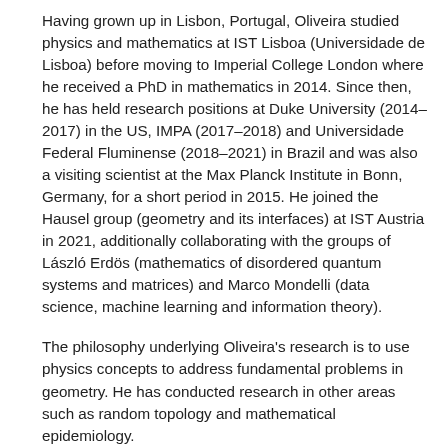Having grown up in Lisbon, Portugal, Oliveira studied physics and mathematics at IST Lisboa (Universidade de Lisboa) before moving to Imperial College London where he received a PhD in mathematics in 2014. Since then, he has held research positions at Duke University (2014–2017) in the US, IMPA (2017–2018) and Universidade Federal Fluminense (2018–2021) in Brazil and was also a visiting scientist at the Max Planck Institute in Bonn, Germany, for a short period in 2015. He joined the Hausel group (geometry and its interfaces) at IST Austria in 2021, additionally collaborating with the groups of László Erdös (mathematics of disordered quantum systems and matrices) and Marco Mondelli (data science, machine learning and information theory).
The philosophy underlying Oliveira's research is to use physics concepts to address fundamental problems in geometry. He has conducted research in other areas such as random topology and mathematical epidemiology.